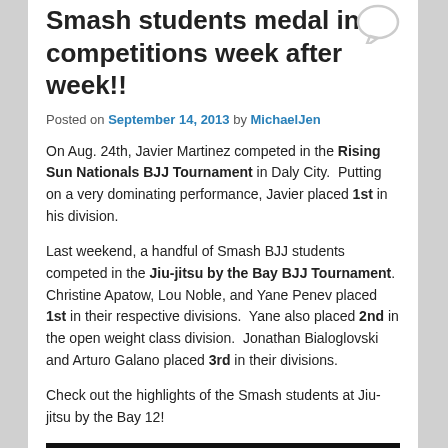Smash students medal in competitions week after week!!
Posted on September 14, 2013 by MichaelJen
On Aug. 24th, Javier Martinez competed in the Rising Sun Nationals BJJ Tournament in Daly City. Putting on a very dominating performance, Javier placed 1st in his division.
Last weekend, a handful of Smash BJJ students competed in the Jiu-jitsu by the Bay BJJ Tournament. Christine Apatow, Lou Noble, and Yane Penev placed 1st in their respective divisions. Yane also placed 2nd in the open weight class division. Jonathan Bialoglovski and Arturo Galano placed 3rd in their divisions.
Check out the highlights of the Smash students at Jiu-jitsu by the Bay 12!